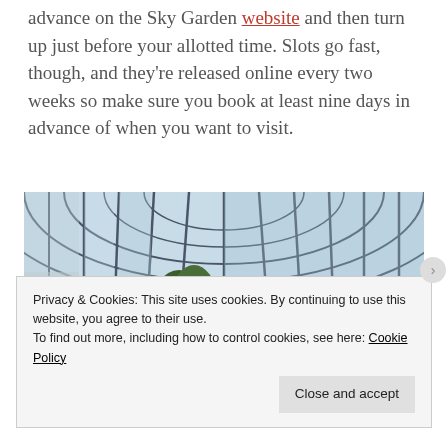advance on the Sky Garden website and then turn up just before your allotted time. Slots go fast, though, and they're released online every two weeks so make sure you book at least nine days in advance of when you want to visit.
[Figure (photo): Interior of Sky Garden showing a large glass atrium with arched steel and glass roof structure, trees/plants visible inside, and a crowd of people at the far end.]
Privacy & Cookies: This site uses cookies. By continuing to use this website, you agree to their use.
To find out more, including how to control cookies, see here: Cookie Policy